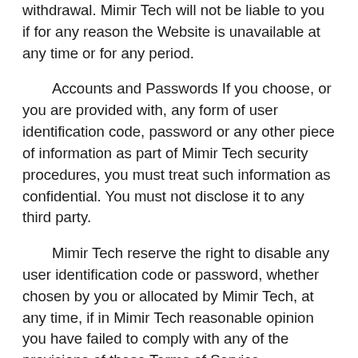withdrawal. Mimir Tech will not be liable to you if for any reason the Website is unavailable at any time or for any period.
Accounts and Passwords If you choose, or you are provided with, any form of user identification code, password or any other piece of information as part of Mimir Tech security procedures, you must treat such information as confidential. You must not disclose it to any third party.
Mimir Tech reserve the right to disable any user identification code or password, whether chosen by you or allocated by Mimir Tech, at any time, if in Mimir Tech reasonable opinion you have failed to comply with any of the provisions of these Terms of Service.
If you know or suspect that anyone other than